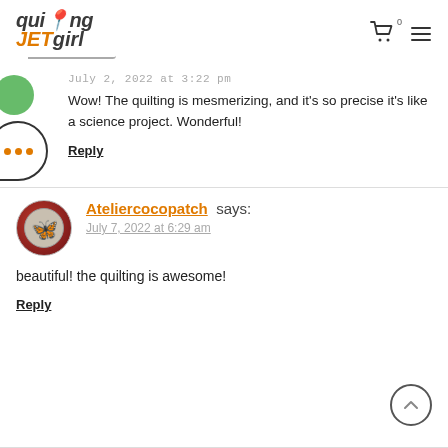quilting JETgirl
July 2, 2022 at 3:22 pm
Wow! The quilting is mesmerizing, and it's so precise it's like a science project. Wonderful!
Reply
Ateliercocopatch says:
July 7, 2022 at 6:29 am
beautiful! the quilting is awesome!
Reply